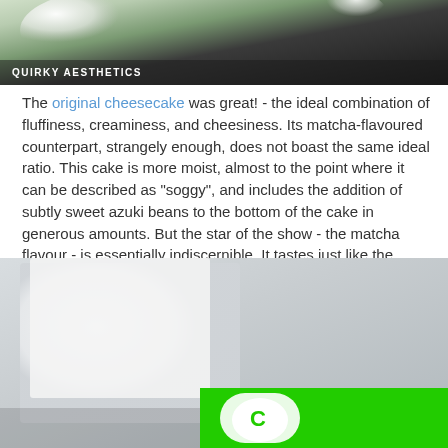[Figure (photo): Top portion of a food photo showing white fluffy cheesecake against dark background with 'Quirky Aesthetics' label overlay]
The original cheesecake was great! - the ideal combination of fluffiness, creaminess, and cheesiness. Its matcha-flavoured counterpart, strangely enough, does not boast the same ideal ratio. This cake is more moist, almost to the point where it can be described as "soggy", and includes the addition of subtly sweet azuki beans to the bottom of the cake in generous amounts. But the star of the show - the matcha flavour - is essentially indiscernible. It tastes just like the original, but wetter and with red beans.
[Figure (photo): Close-up photo of white packaging with green element visible at bottom, blurred background, likely a food product box]